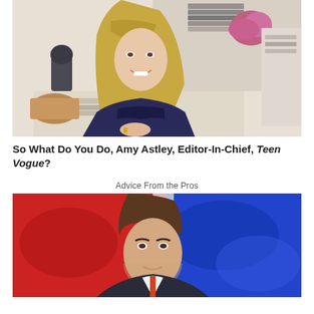[Figure (photo): A smiling woman with long blonde hair and bangs, wearing a dark navy patterned jacket with gold accents, seated at a desk with papers, books stacked in background, pink flowers, and a small figurine on the desk.]
So What Do You Do, Amy Astley, Editor-In-Chief, Teen Vogue?
Advice From the Pros
[Figure (photo): A man with dark brown hair wearing a suit, photographed in front of a blurred red, white, and blue TV news studio background.]